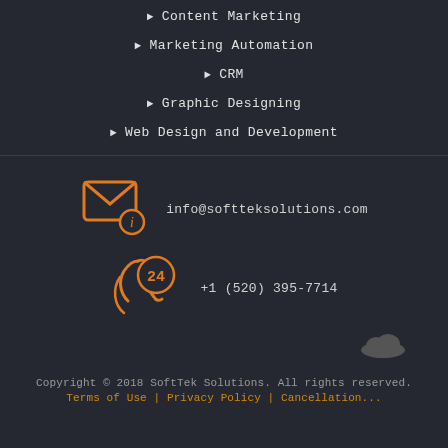▶ Content Marketing
▶ Marketing Automation
▶ CRM
▶ Graphic Designing
▶ Web Design and Development
info@softteksolutions.com
+1 (520) 395-7714
Copyright © 2018 SoftTek Solutions. All rights reserved.
Terms of Use | Privacy Policy | Cancellation...